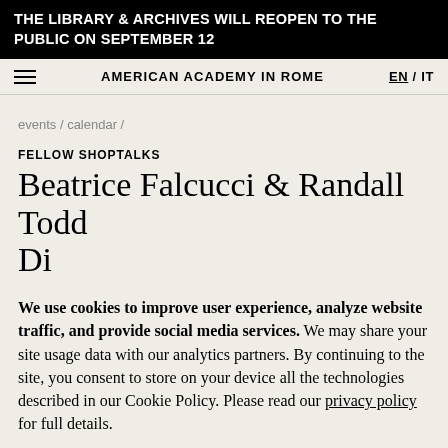THE LIBRARY & ARCHIVES WILL REOPEN TO THE PUBLIC ON SEPTEMBER 12
AMERICAN ACADEMY IN ROME  EN / IT
events / calendar /
FELLOW SHOPTALKS
Beatrice Falcucci & Randall Todd Di
We use cookies to improve user experience, analyze website traffic, and provide social media services. We may share your site usage data with our analytics partners. By continuing to the site, you consent to store on your device all the technologies described in our Cookie Policy. Please read our privacy policy for full details.
OK